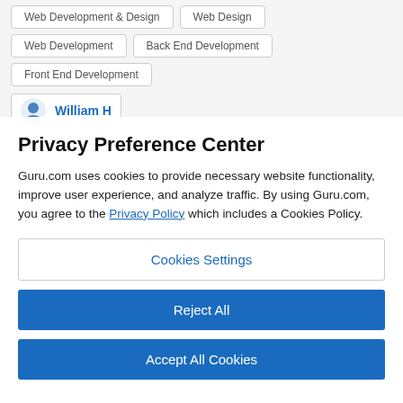Web Development & Design
Web Design
Web Development
Back End Development
Front End Development
William H
Privacy Preference Center
Guru.com uses cookies to provide necessary website functionality, improve user experience, and analyze traffic. By using Guru.com, you agree to the Privacy Policy which includes a Cookies Policy.
Cookies Settings
Reject All
Accept All Cookies